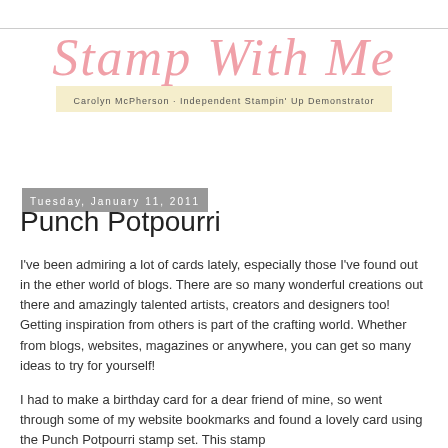[Figure (logo): Stamp With Me blog logo — pink cursive script 'Stamp With Me' with subtitle 'Carolyn McPherson · Independent Stampin' Up Demonstrator' on a yellow banner]
Tuesday, January 11, 2011
Punch Potpourri
I've been admiring a lot of cards lately, especially those I've found out in the ether world of blogs.  There are so many wonderful creations out there and amazingly talented artists, creators and designers too!  Getting inspiration from others is part of the crafting world.  Whether from blogs, websites, magazines or anywhere, you can get so many ideas to try for yourself!
I had to make a birthday card for a dear friend of mine, so went through some of my website bookmarks and found a lovely card using the Punch Potpourri stamp set.  This stamp